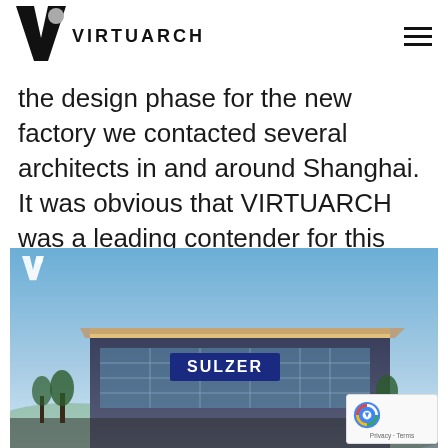VIRTUARCH
the design phase for the new factory we contacted several architects in and around Shanghai. It was obvious that VIRTUARCH was a leading contender for this project.
[Figure (photo): Photograph of the Sulzer factory building at dusk. A modern industrial building with 'SULZER' signage is visible against a blue sky. A small Virtuarch logo watermark appears in the upper left corner of the image.]